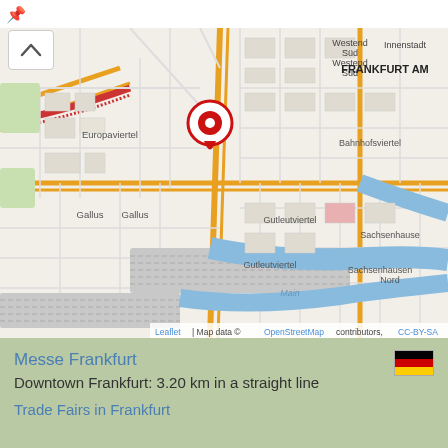[Figure (map): OpenStreetMap view of Frankfurt am Main showing Europaviertel, Gallus, Gutleutviertel, Bahnhofsviertel, Westend Süd, Sachsenhausen Nord areas with a red location pin marker near the center, and the Main river visible in the lower portion.]
Messe Frankfurt
Downtown Frankfurt: 3.20 km in a straight line
Trade Fairs in Frankfurt